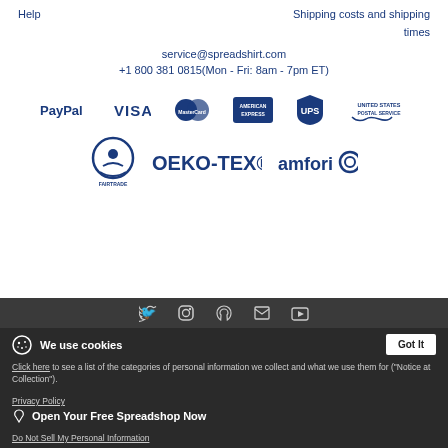Help
Shipping costs and shipping times
service@spreadshirt.com
+1 800 381 0815(Mon - Fri: 8am - 7pm ET)
[Figure (logo): Payment and shipping logos: PayPal, VISA, MasterCard, American Express, UPS, United States Postal Service]
[Figure (logo): Certification logos: Fairtrade, OEKO-TEX, amfori]
[Figure (logo): Social media icons: Twitter, Instagram, Snapchat, Facebook, YouTube]
We use cookies
Got It
Click here to see a list of the categories of personal information we collect and what we use them for ("Notice at Collection").
Privacy Policy
Do Not Sell My Personal Information
Open Your Free Spreadshop Now
By using this website, I agree to the Terms and Conditions